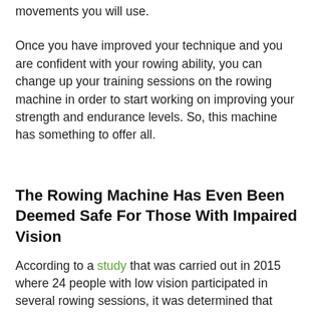movements you will use.
Once you have improved your technique and you are confident with your rowing ability, you can change up your training sessions on the rowing machine in order to start working on improving your strength and endurance levels. So, this machine has something to offer all.
The Rowing Machine Has Even Been Deemed Safe For Those With Impaired Vision
According to a study that was carried out in 2015 where 24 people with low vision participated in several rowing sessions, it was determined that rowing had a positive affect on their health without